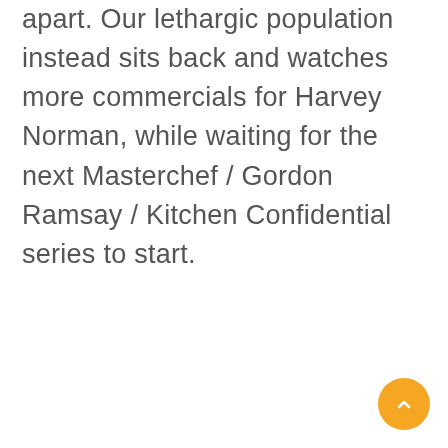apart. Our lethargic population instead sits back and watches more commercials for Harvey Norman, while waiting for the next Masterchef / Gordon Ramsay / Kitchen Confidential series to start.